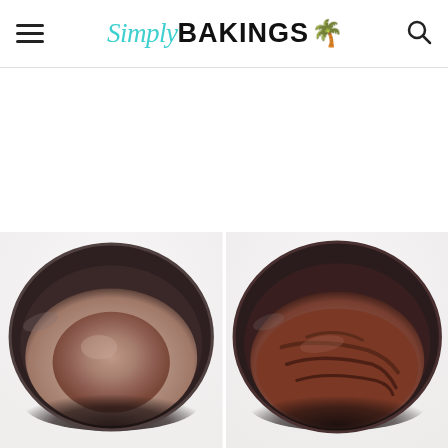Simply BAKINGS
[Figure (photo): Two side-by-side photos of chocolate dough in stainless steel mixing bowls viewed from above. Left photo shows a smooth, round ball of dark chocolate dough. Right photo shows the same dough after mixing, now spread out and wrinkled/folded in the bowl.]